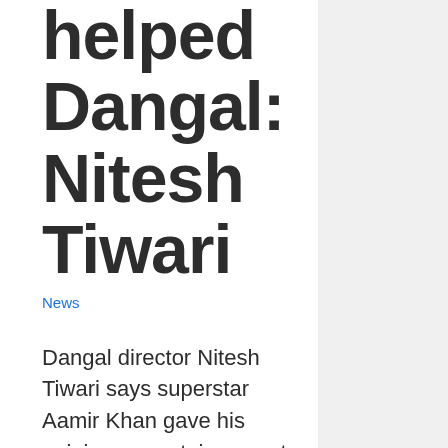helped Dangal: Nitesh Tiwari
News
Dangal director Nitesh Tiwari says superstar Aamir Khan gave his opinion on certain aspects of the movie, but never insisted his suggestions must be followed.